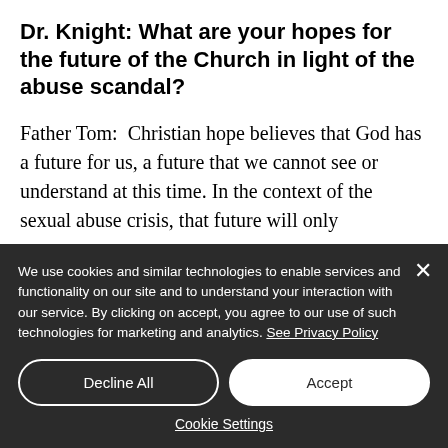Dr. Knight: What are your hopes for the future of the Church in light of the abuse scandal?
Father Tom:  Christian hope believes that God has a future for us, a future that we cannot see or understand at this time. In the context of the sexual abuse crisis, that future will only
We use cookies and similar technologies to enable services and functionality on our site and to understand your interaction with our service. By clicking on accept, you agree to our use of such technologies for marketing and analytics. See Privacy Policy
Decline All
Accept
Cookie Settings